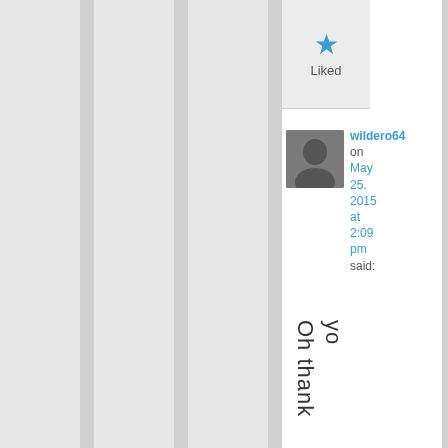[Figure (other): UI screenshot of a blog/social comment section showing a star Liked button and a user comment]
Liked
wildero64 on May 25, 2015 at 2:09 pm said:
Oh thank yo